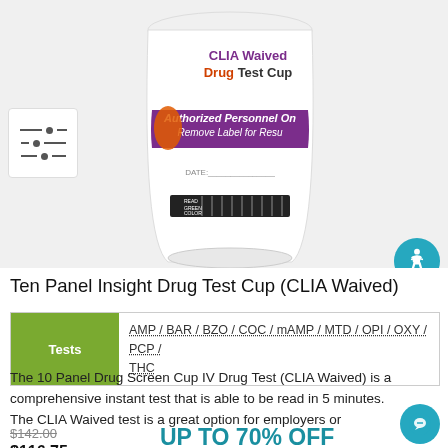[Figure (photo): CLIA Waived Drug Test Cup product photo showing a white cup with purple band labeled 'CLIA Waived Drug Test Cup', 'Authorized Personnel Only Remove Label for Results', with DATE field and color reading strip at bottom]
Ten Panel Insight Drug Test Cup (CLIA Waived)
| Tests | Substances |
| --- | --- |
| Tests | AMP / BAR / BZO / COC / mAMP / MTD / OPI / OXY / PCP / THC |
The 10 Panel Drug Screen Cup IV Drug Test (CLIA Waived) is a comprehensive instant test that is able to be read in 5 minutes. The CLIA Waived test is a great option for employers or (...)
$142.00
$116.75
UP TO 70% OFF